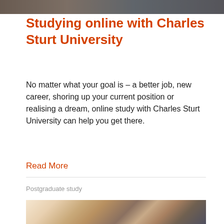[Figure (photo): Top portion of a photo showing people, partially cropped at top of page]
Studying online with Charles Sturt University
No matter what your goal is – a better job, new career, shoring up your current position or realising a dream, online study with Charles Sturt University can help you get there.
Read More
Postgraduate study
[Figure (photo): Photo of two women smiling and talking, with another person partially visible, outdoor/urban setting]